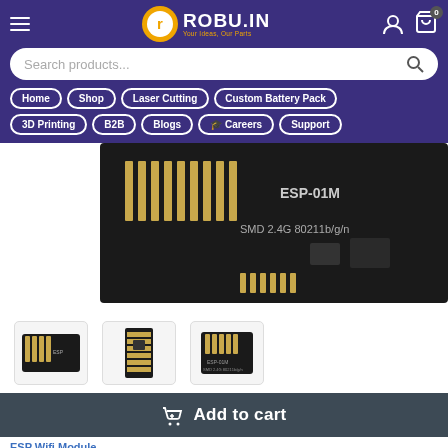[Figure (screenshot): Robu.in e-commerce website header with logo, search bar, and navigation buttons including Home, Shop, Laser Cutting, Custom Battery Pack, 3D Printing, B2B, Blogs, Careers, Support]
[Figure (photo): Close-up photo of ESP-01M WiFi module showing PCB with gold contacts, labeled ESP-01M and SMD 2.4G 80211b/g/n]
[Figure (photo): Three thumbnail images of ESP WiFi module from different angles]
Add to cart
ESP Wifi Module